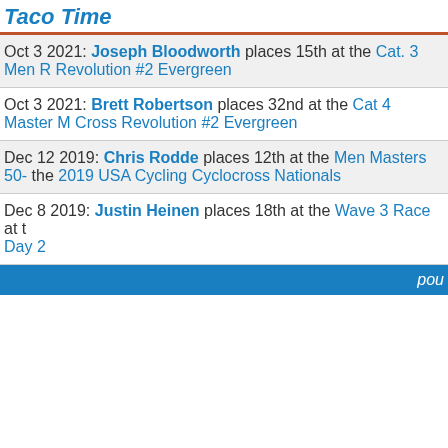Taco Time
Oct 3 2021: Joseph Bloodworth places 15th at the Cat. 3 Men Revolution #2 Evergreen
Oct 3 2021: Brett Robertson places 32nd at the Cat 4 Master M Cross Revolution #2 Evergreen
Dec 12 2019: Chris Rodde places 12th at the Men Masters 50- the 2019 USA Cycling Cyclocross Nationals
Dec 8 2019: Justin Heinen places 18th at the Wave 3 Race at t Day 2
pou